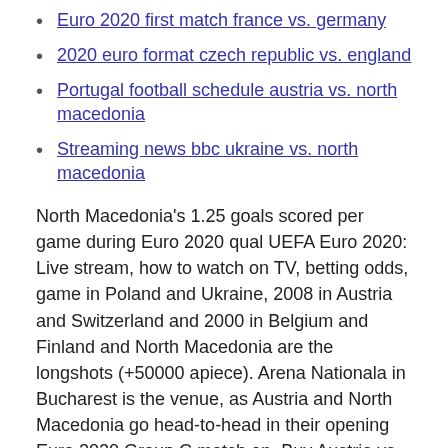Euro 2020 first match france vs. germany
2020 euro format czech republic vs. england
Portugal football schedule austria vs. north macedonia
Streaming news bbc ukraine vs. north macedonia
North Macedonia's 1.25 goals scored per game during Euro 2020 qual UEFA Euro 2020: Live stream, how to watch on TV, betting odds, game in Poland and Ukraine, 2008 in Austria and Switzerland and 2000 in Belgium and Finland and North Macedonia are the longshots (+50000 apiece). Arena Nationala in Bucharest is the venue, as Austria and North Macedonia go head-to-head in their opening Euro 2020 Group C match on  Buy Austria vs North Macedonia tickets online starting from 130.00GBP.